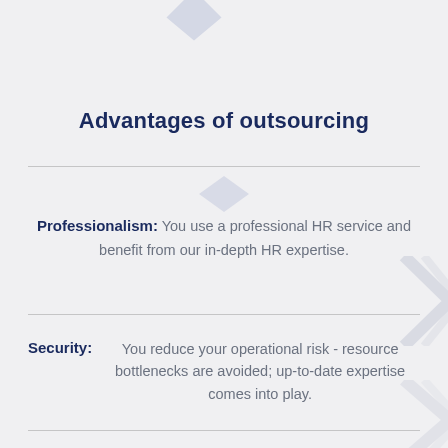Advantages of outsourcing
Professionalism: You use a professional HR service and benefit from our in-depth HR expertise.
Security: You reduce your operational risk - resource bottlenecks are avoided; up-to-date expertise comes into play.
Reliability: We are available all the time - you do not have to deal with the possible absences that occur